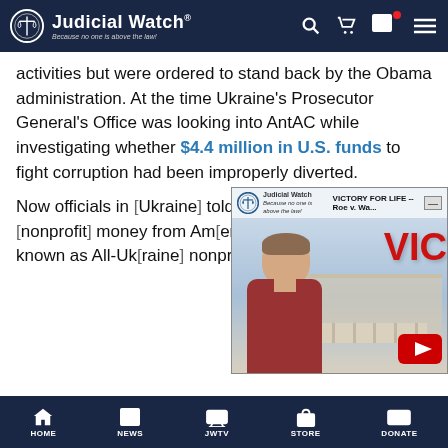Judicial Watch — Because no one is above the law!
activities but were ordered to stand back by the Obama administration. At the time Ukraine's Prosecutor General's Office was looking into AntAC while investigating whether $4.4 million in U.S. funds to fight corruption had been improperly diverted.
[Figure (screenshot): Judicial Watch video thumbnail showing a man in a red shirt in front of the Supreme Court building, with text 'VICTORY FOR LIFE -- Roe v. Wa...' and YouTube play button]
Now officials in [Ukraine] told [us] that a Ukrainian [nonprofit] money from Am[erica] helped AntAC en[ter] known as All-Uk[raine] nonprofit is now...
HOME  NEWS  JWTV  STORE  DONATE